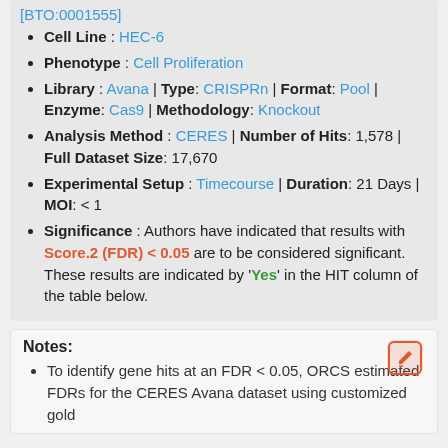[BTO:0001555]
Cell Line : HEC-6
Phenotype : Cell Proliferation
Library : Avana | Type: CRISPRn | Format: Pool | Enzyme: Cas9 | Methodology: Knockout
Analysis Method : CERES | Number of Hits: 1,578 | Full Dataset Size: 17,670
Experimental Setup : Timecourse | Duration: 21 Days | MOI: < 1
Significance : Authors have indicated that results with Score.2 (FDR) < 0.05 are to be considered significant. These results are indicated by 'Yes' in the HIT column of the table below.
Notes:
To identify gene hits at an FDR < 0.05, ORCS estimated FDRs for the CERES Avana dataset using customized gold...